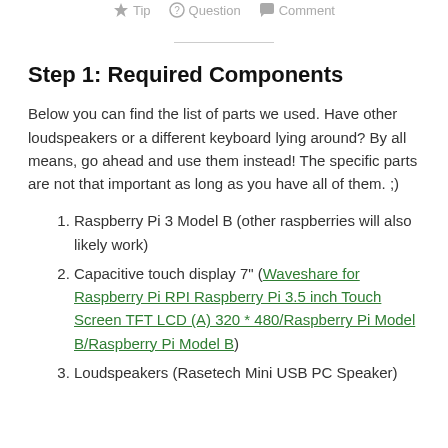Tip   Question   Comment
Step 1: Required Components
Below you can find the list of parts we used. Have other loudspeakers or a different keyboard lying around? By all means, go ahead and use them instead! The specific parts are not that important as long as you have all of them. ;)
1. Raspberry Pi 3 Model B (other raspberries will also likely work)
2. Capacitive touch display 7" (Waveshare for Raspberry Pi RPI Raspberry Pi 3.5 inch Touch Screen TFT LCD (A) 320 * 480/Raspberry Pi Model B/Raspberry Pi Model B)
3. Loudspeakers (Rasetech Mini USB PC Speaker)